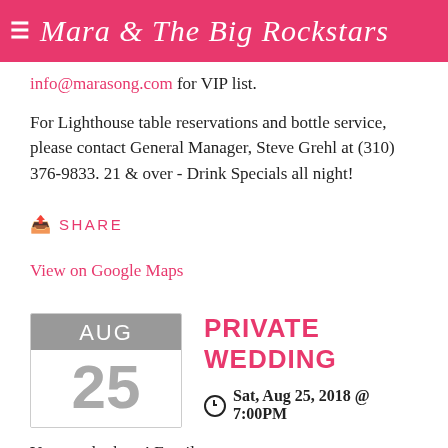Mara & The Big Rockstars
info@marasong.com for VIP list.
For Lighthouse table reservations and bottle service, please contact General Manager, Steve Grehl at (310) 376-9833. 21 & over - Drink Specials all night!
SHARE
View on Google Maps
PRIVATE WEDDING
Sat, Aug 25, 2018 @ 7:00PM
Yes, we do those! Email mara@marasong.com for details.